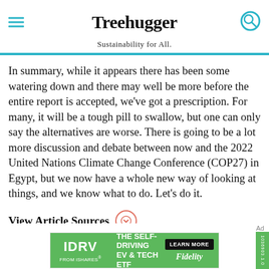Treehugger — Sustainability for All.
In summary, while it appears there has been some watering down and there may well be more before the entire report is accepted, we've got a prescription. For many, it will be a tough pill to swallow, but one can only say the alternatives are worse. There is going to be a lot more discussion and debate between now and the 2022 United Nations Climate Change Conference (COP27) in Egypt, but we now have a whole new way of looking at things, and we know what to do. Let's do it.
View Article Sources
[Figure (other): IDRV from iShares advertisement banner: THE SELF-DRIVING EV & TECH ETF — LEARN MORE — Fidelity]